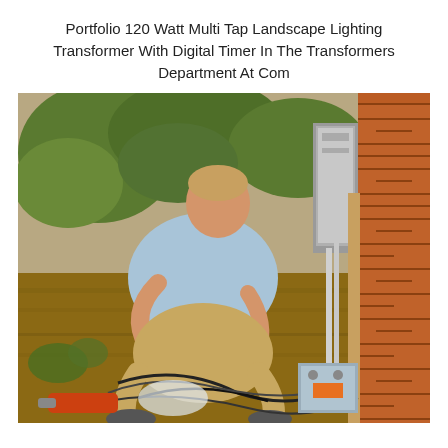Portfolio 120 Watt Multi Tap Landscape Lighting Transformer With Digital Timer In The Transformers Department At Com
[Figure (photo): A man crouching outdoors near a brick wall, working on landscape lighting wiring and a transformer box on the ground. Tools and cables surround him; a gray electrical panel is mounted on the wall.]